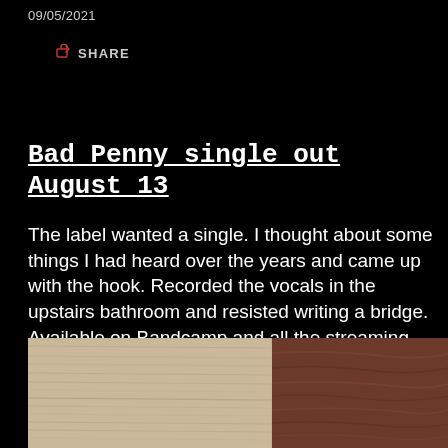09/05/2021
SHARE
Bad Penny single out August 13
The label wanted a single. I thought about some things I had heard over the years and came up with the hook. Recorded the vocals in the upstairs bathroom and resisted writing a bridge. Available on Bandcamp and all the streaming spots August 13.
[Figure (photo): Two-panel image showing wood grain textures: left panel shows light maple wood grain, right panel shows darker walnut wood grain.]